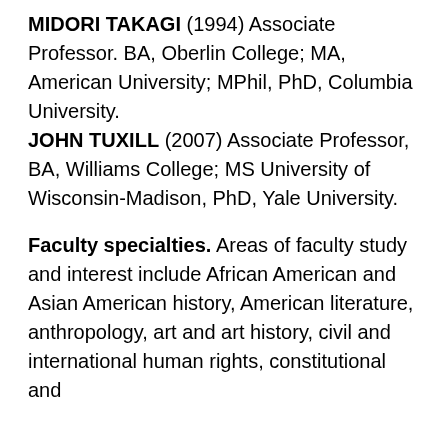MIDORI TAKAGI (1994) Associate Professor. BA, Oberlin College; MA, American University; MPhil, PhD, Columbia University.
JOHN TUXILL (2007) Associate Professor, BA, Williams College; MS University of Wisconsin-Madison, PhD, Yale University.
Faculty specialties. Areas of faculty study and interest include African American and Asian American history, American literature, anthropology, art and art history, civil and international human rights, constitutional and